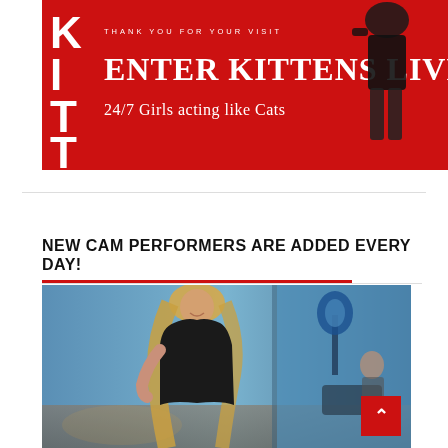[Figure (photo): Red advertisement banner for 'Kittens Live' cam site. Shows text 'THANK YOU FOR YOUR VISIT', 'ENTER KITTENS LIVE', '24/7 Girls acting like Cats' with a female figure in a black dress and the letters KITT on the left side.]
NEW CAM PERFORMERS ARE ADDED EVERY DAY!
[Figure (photo): Photo of a blonde woman in a black off-shoulder dress posing in a blue-toned room with a lamp and chair visible. Another person partially visible in the background.]